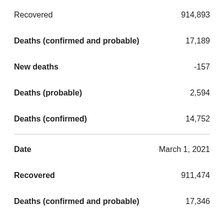Recovered: 914,893
Deaths (confirmed and probable): 17,189
New deaths: -157
Deaths (probable): 2,594
Deaths (confirmed): 14,752
Date: March 1, 2021
Recovered: 911,474
Deaths (confirmed and probable): 17,346
New deaths: 49
Deaths (probable): 2,594